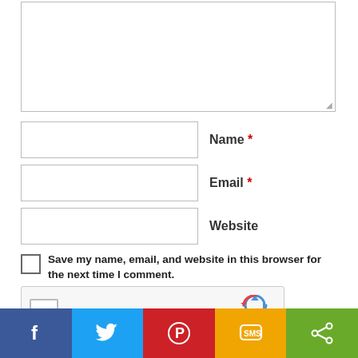[Figure (screenshot): Comment form textarea (large empty text input box)]
Name *
Email *
Website
Save my name, email, and website in this browser for the next time I comment.
[Figure (other): reCAPTCHA widget with checkbox and 'I'm not a robot' text, with Google reCAPTCHA logo, Privacy and Terms links]
Post Comment
[Figure (other): Social share bar with Facebook, Twitter, Pinterest, SMS, and general share buttons]